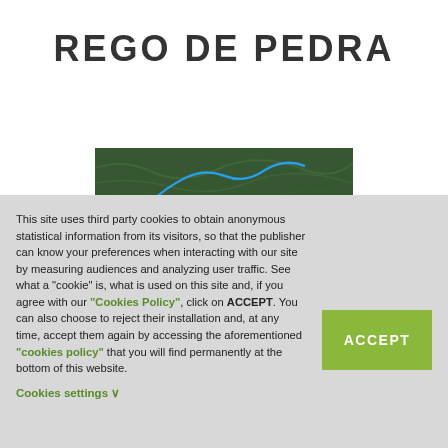REGO DE PEDRA
[Figure (map): Aerial/satellite map view showing green terrain with a blue outlined route or region]
This site uses third party cookies to obtain anonymous statistical information from its visitors, so that the publisher can know your preferences when interacting with our site by measuring audiences and analyzing user traffic. See what a "cookie" is, what is used on this site and, if you agree with our "Cookies Policy", click on ACCEPT. You can also choose to reject their installation and, at any time, accept them again by accessing the aforementioned "cookies policy" that you will find permanently at the bottom of this website. Cookies settings ∨